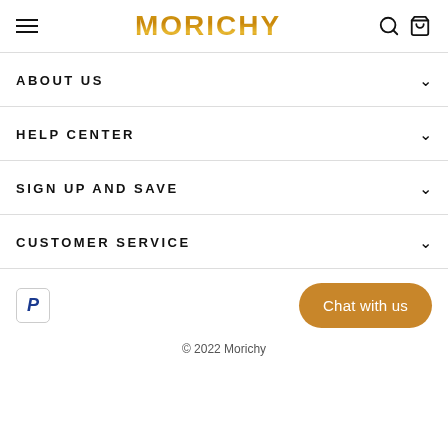MORICHY
ABOUT US
HELP CENTER
SIGN UP AND SAVE
CUSTOMER SERVICE
[Figure (logo): PayPal payment badge with blue P logo]
Chat with us
© 2022 Morichy